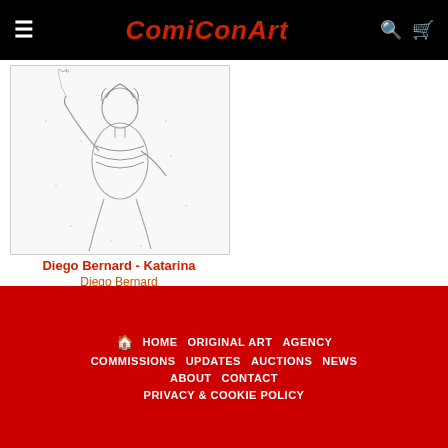ComiConArt
[Figure (illustration): Pencil sketch illustration of Katarina character in action pose, comic book style]
Diego Bernard - Katarina
Diego Bernard
Sold
HOME  ORIGINAL ART  AGENCY  COMMISSIONS  UPDATES  AUCTIONS  NEWS  ABOUT  CONTACT  PRIVACY & COOKIE POLICY